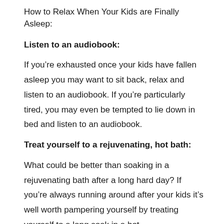How to Relax When Your Kids are Finally Asleep:
Listen to an audiobook:
If you’re exhausted once your kids have fallen asleep you may want to sit back, relax and listen to an audiobook. If you’re particularly tired, you may even be tempted to lie down in bed and listen to an audiobook.
Treat yourself to a rejuvenating, hot bath:
What could be better than soaking in a rejuvenating bath after a long hard day? If you’re always running around after your kids it’s well worth pampering yourself by treating yourself to a long soak in a hot